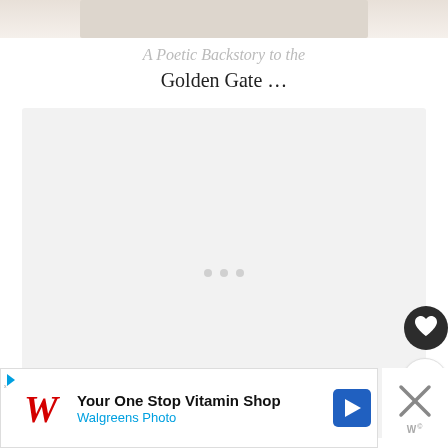[Figure (photo): Top portion of an image, partially cropped, showing a light-colored scene]
A Poetic Backstory to the
Golden Gate …
[Figure (other): Light gray content card area with three loading dots in the center]
[Figure (other): Dark circular heart/like button icon]
1
[Figure (other): Share/network icon button]
[Figure (other): Walgreens advertisement banner: Your One Stop Vitamin Shop - Walgreens Photo]
[Figure (other): Close X button with W logo]